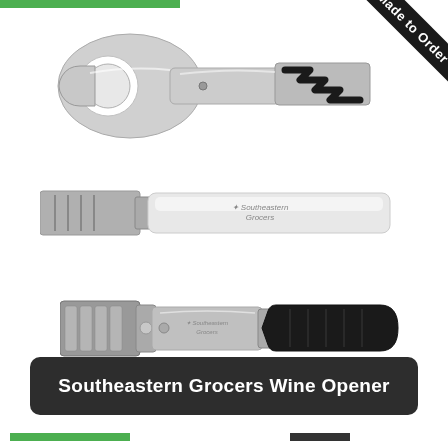[Figure (photo): Three views of a Southeastern Grocers branded wine opener / corkscrew: top view showing a silver folded waiter's corkscrew with black spiral worm; middle view showing the flat closed handle with Southeastern Grocers logo engraved; bottom view showing the tool opened with black grip handle extended and metallic body with logo.]
Southeastern Grocers Wine Opener